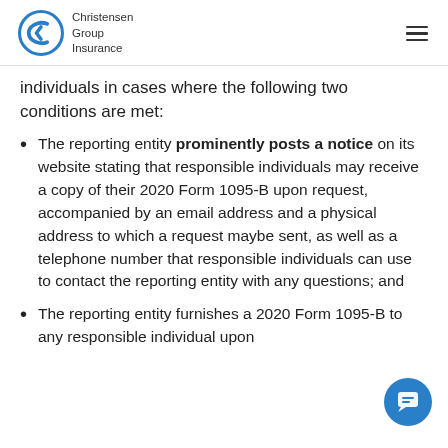Christensen Group Insurance
individuals in cases where the following two conditions are met:
The reporting entity prominently posts a notice on its website stating that responsible individuals may receive a copy of their 2020 Form 1095-B upon request, accompanied by an email address and a physical address to which a request maybe sent, as well as a telephone number that responsible individuals can use to contact the reporting entity with any questions; and
The reporting entity furnishes a 2020 Form 1095-B to any responsible individual upon